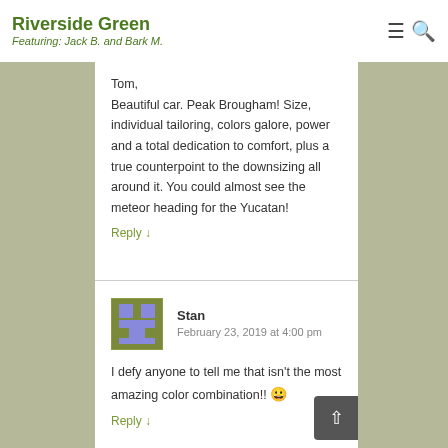Riverside Green
Featuring: Jack B. and Bark M.
Tom,
Beautiful car. Peak Brougham! Size, individual tailoring, colors galore, power and a total dedication to comfort, plus a true counterpoint to the downsizing all around it. You could almost see the meteor heading for the Yucatan!
Reply ↓
Stan
February 23, 2019 at 4:00 pm
I defy anyone to tell me that isn't the most amazing color combination!! 😀
Reply ↓